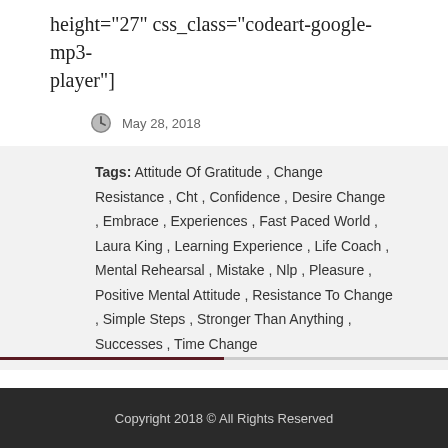height="27" css_class="codeart-google-mp3-player"]
May 28, 2018
Tags: Attitude Of Gratitude , Change Resistance , Cht , Confidence , Desire Change , Embrace , Experiences , Fast Paced World , Laura King , Learning Experience , Life Coach , Mental Rehearsal , Mistake , Nlp , Pleasure , Positive Mental Attitude , Resistance To Change , Simple Steps , Stronger Than Anything , Successes , Time Change
Copyright 2018 © All Rights Reserved